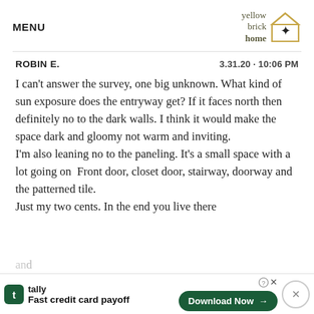MENU | yellow brick home logo
ROBIN E.   3.31.20 · 10:06 PM
I can't answer the survey, one big unknown. What kind of sun exposure does the entryway get? If it faces north then definitely no to the dark walls. I think it would make the space dark and gloomy not warm and inviting. I'm also leaning no to the paneling. It's a small space with a lot going on  Front door, closet door, stairway, doorway and the patterned tile.
Just my two cents. In the end you live there
[Figure (screenshot): Tally app advertisement banner at the bottom: 'Fast credit card payoff' with Download Now button]